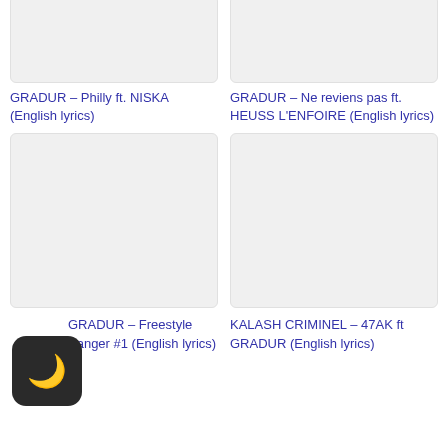[Figure (illustration): Thumbnail image placeholder for GRADUR Philly ft. NISKA]
GRADUR – Philly ft. NISKA (English lyrics)
[Figure (illustration): Thumbnail image placeholder for GRADUR Ne reviens pas ft. HEUSS L'ENFOIRE]
GRADUR – Ne reviens pas ft. HEUSS L'ENFOIRE (English lyrics)
[Figure (illustration): Thumbnail image placeholder for GRADUR Freestyle Banger #1]
GRADUR – Freestyle Banger #1 (English lyrics)
[Figure (illustration): Thumbnail image placeholder for KALASH CRIMINEL 47AK ft GRADUR]
KALASH CRIMINEL – 47AK ft GRADUR (English lyrics)
[Figure (illustration): Dark mode toggle icon with moon symbol]